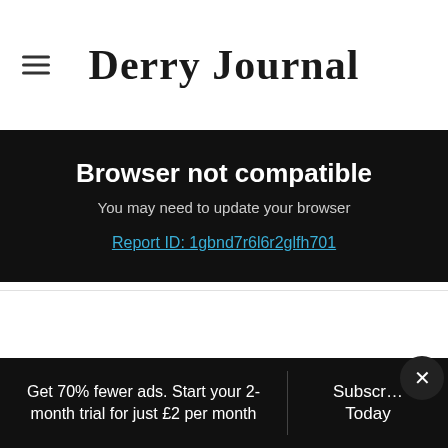Derry Journal
Browser not compatible
You may need to update your browser
Report ID: 1gbnd7r6l6r2glfh701
Get 70% fewer ads. Start your 2-month trial for just £2 per month
Subscribe Today